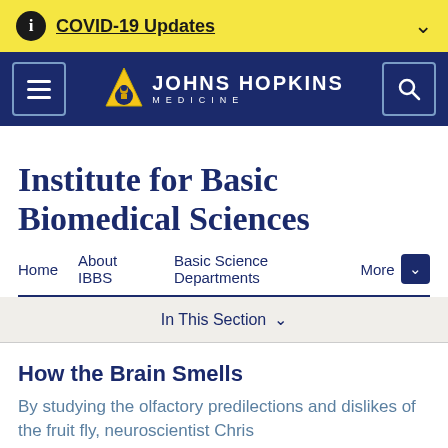COVID-19 Updates
[Figure (screenshot): Johns Hopkins Medicine navigation bar with hamburger menu, logo, and search button on dark blue background]
Institute for Basic Biomedical Sciences
Home   About IBBS   Basic Science Departments   More
In This Section
How the Brain Smells
By studying the olfactory predilections and dislikes of the fruit fly, neuroscientist Chris